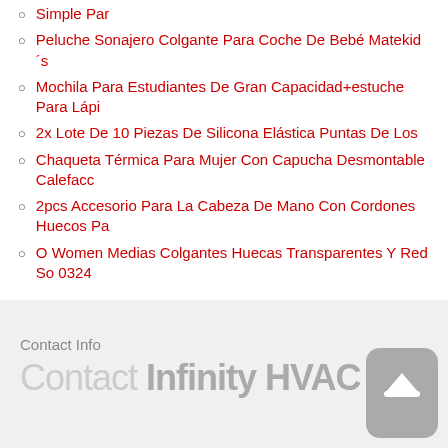Simple Par
Peluche Sonajero Colgante Para Coche De Bebé Matekid´s
Mochila Para Estudiantes De Gran Capacidad+estuche Para Lápi
2x Lote De 10 Piezas De Silicona Elástica Puntas De Los
Chaqueta Térmica Para Mujer Con Capucha Desmontable Calefacc
2pcs Accesorio Para La Cabeza De Mano Con Cordones Huecos Pa
O Women Medias Colgantes Huecas Transparentes Y Red So 0324
Contact Info
Contact Infinity HVAC